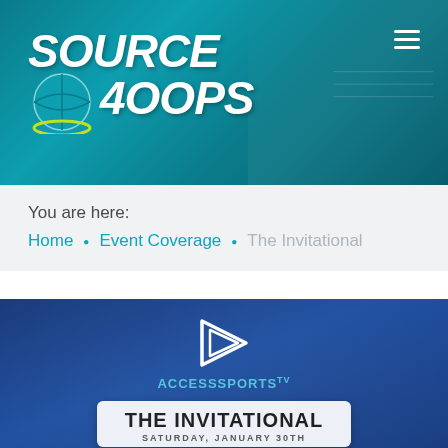[Figure (logo): Source Hoops website logo with basketball graphic, white italic bold text on teal gradient background, hamburger menu icon top right]
You are here:
Home • Event Coverage • The Invitational
[Figure (photo): The Invitational event promotional graphic on dark blue background. Shows Access Sports TV logo with triangular play icon, banner reading THE INVITATIONAL, SATURDAY, JANUARY 30TH, and Impact Christian mascot/logo at bottom left]